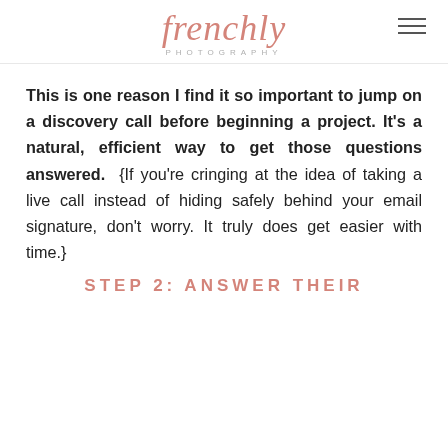frenchly PHOTOGRAPHY
This is one reason I find it so important to jump on a discovery call before beginning a project. It’s a natural, efficient way to get those questions answered. {If you’re cringing at the idea of taking a live call instead of hiding safely behind your email signature, don’t worry. It truly does get easier with time.}
STEP 2: ANSWER THEIR